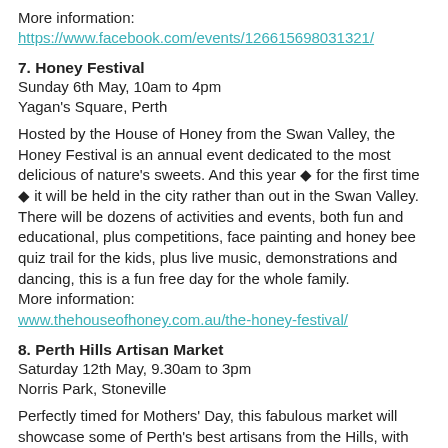More information:
https://www.facebook.com/events/126615698031321/
7. Honey Festival
Sunday 6th May, 10am to 4pm
Yagan's Square, Perth
Hosted by the House of Honey from the Swan Valley, the Honey Festival is an annual event dedicated to the most delicious of nature's sweets. And this year ◆ for the first time ◆ it will be held in the city rather than out in the Swan Valley. There will be dozens of activities and events, both fun and educational, plus competitions, face painting and honey bee quiz trail for the kids, plus live music, demonstrations and dancing, this is a fun free day for the whole family.
More information:
www.thehouseofhoney.com.au/the-honey-festival/
8. Perth Hills Artisan Market
Saturday 12th May, 9.30am to 3pm
Norris Park, Stoneville
Perfectly timed for Mothers' Day, this fabulous market will showcase some of Perth's best artisans from the Hills, with handmade arts, crafts, jewellery, homewares, fashion and